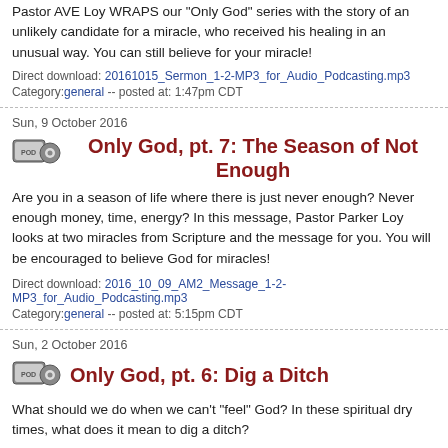Pastor AVE Loy WRAPS our "Only God" series with the story of an unlikely candidate for a miracle, who received his healing in an unusual way. You can still believe for your miracle!
Direct download: 20161015_Sermon_1-2-MP3_for_Audio_Podcasting.mp3
Category:general -- posted at: 1:47pm CDT
Sun, 9 October 2016
Only God, pt. 7: The Season of Not Enough
Are you in a season of life where there is just never enough? Never enough money, time, energy?  In this message, Pastor Parker Loy looks at two miracles from Scripture and the message for you. You will be encouraged to believe God for miracles!
Direct download: 2016_10_09_AM2_Message_1-2-MP3_for_Audio_Podcasting.mp3
Category:general -- posted at: 5:15pm CDT
Sun, 2 October 2016
Only God, pt. 6: Dig a Ditch
What should we do when we can't "feel" God?  In these spiritual dry times, what does it mean to dig a ditch?
Direct download: 2016_10_01_Sat_Message_1-2-MP3_for_Audio_Podcasting.mp3
Category:general -- posted at: 4:23pm CDT
Sun, 25 September 2016
Only God, pt. 5: Do You See